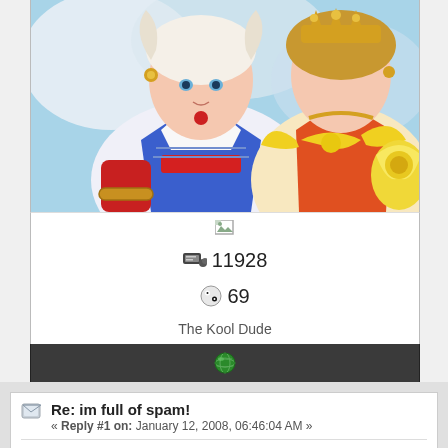[Figure (illustration): Anime-style illustration showing two characters: one with blue sailor-style outfit with red and white elements and gold accessories, the other in orange/red and yellow outfit with gold crown accessories. Blue sky background. Close-up/cropped view.]
[Figure (other): Small broken/placeholder image icon]
11928
69
The Kool Dude
[Figure (other): Green globe/world icon on dark bar]
Re: im full of spam!
« Reply #1 on: January 12, 2008, 06:46:04 AM »